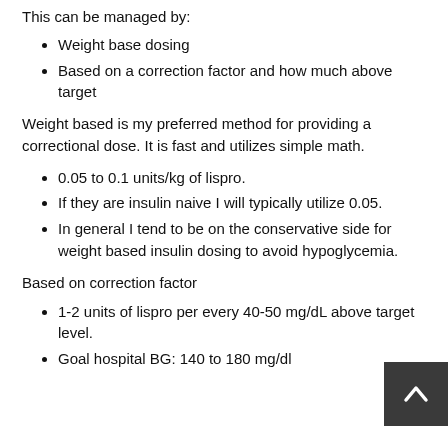This can be managed by:
Weight base dosing
Based on a correction factor and how much above target
Weight based is my preferred method for providing a correctional dose. It is fast and utilizes simple math.
0.05 to 0.1 units/kg of lispro.
If they are insulin naive I will typically utilize 0.05.
In general I tend to be on the conservative side for weight based insulin dosing to avoid hypoglycemia.
Based on correction factor
1-2 units of lispro per every 40-50 mg/dL above target level.
Goal hospital BG: 140 to 180 mg/dl